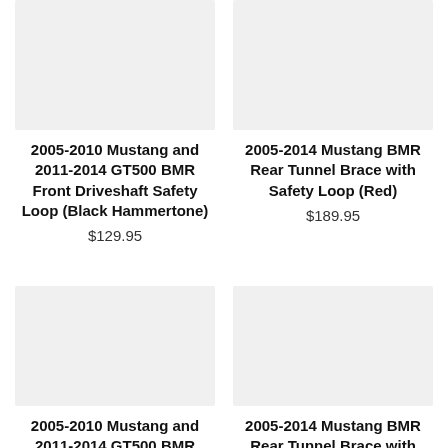[Figure (photo): Product image placeholder for 2005-2010 Mustang and 2011-2014 GT500 BMR Front Driveshaft Safety Loop (Black Hammertone)]
2005-2010 Mustang and 2011-2014 GT500 BMR Front Driveshaft Safety Loop (Black Hammertone)
$129.95
[Figure (photo): Product image placeholder for 2005-2014 Mustang BMR Rear Tunnel Brace with Safety Loop (Red)]
2005-2014 Mustang BMR Rear Tunnel Brace with Safety Loop (Red)
$189.95
[Figure (photo): Product image placeholder for 2005-2010 Mustang and 2011-2014 GT500 BMR (second product)]
2005-2010 Mustang and 2011-2014 GT500 BMR
[Figure (photo): Product image placeholder for 2005-2014 Mustang BMR Rear Tunnel Brace with (second product)]
2005-2014 Mustang BMR Rear Tunnel Brace with